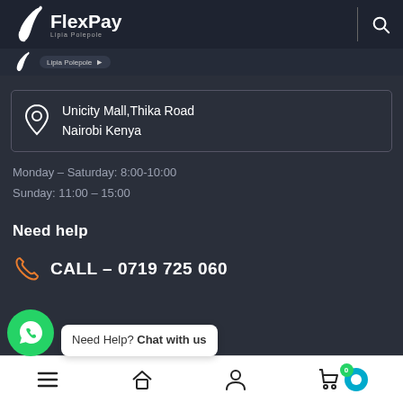FlexPay Lipia Polepole
[Figure (logo): FlexPay logo with stylized F and text 'FlexPay' with subtitle 'Lipia Polepole']
Unicity Mall,Thika Road Nairobi Kenya
Monday – Saturday: 8:00-10:00
Sunday: 11:00 – 15:00
Need help
CALL – 0719 725 060
Need Help? Chat with us